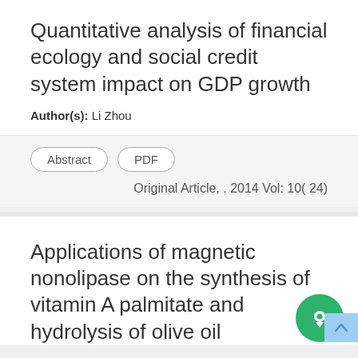Quantitative analysis of financial ecology and social credit system impact on GDP growth
Author(s): Li Zhou
Abstract  PDF
Original Article, . 2014 Vol: 10( 24)
Applications of magnetic nonolipase on the synthesis of vitamin A palmitate and hydrolysis of olive oil